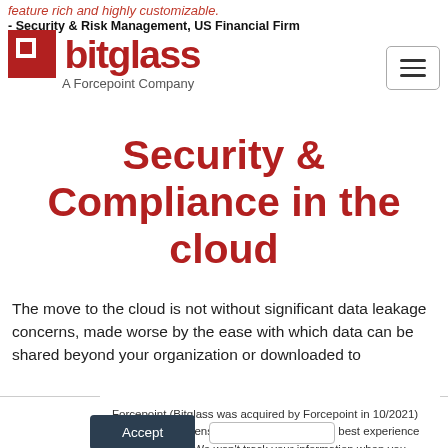feature rich and highly customizable. - Security & Risk Management, US Financial Firm
[Figure (logo): Bitglass logo with red square icon and red bold text 'bitglass', with tagline overlay showing italic red quote text and subtitle 'A Forcepoint Company']
Security & Compliance in the cloud
The move to the cloud is not without significant data leakage concerns, made worse by the ease with which data can be shared beyond your organization or downloaded to
Forcepoint (Bitglass was acquired by Forcepoint in 10/2021) uses cookies to ensure that we give you the best experience on our website. We won't track your information when you visit our site. To find out more about the cookies we use, see our Privacy Policy.
Accept